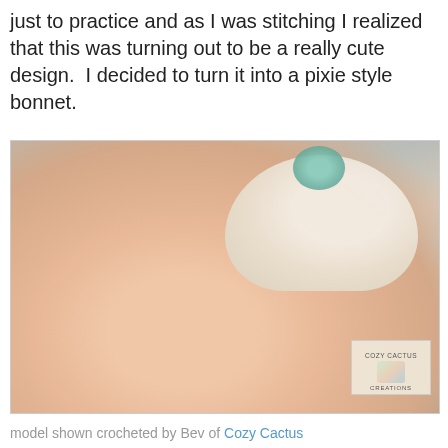just to practice and as I was stitching I realized that this was turning out to be a really cute design.  I decided to turn it into a pixie style bonnet.
[Figure (photo): A newborn baby wearing a white/cream knit pixie style bonnet with a small teal/mint decorative tip, lying on a light blue blanket, looking at the camera with blue eyes. The photo has a Cozy Cactus Creations watermark in the bottom right corner.]
model shown crocheted by Bev of Cozy Cactus